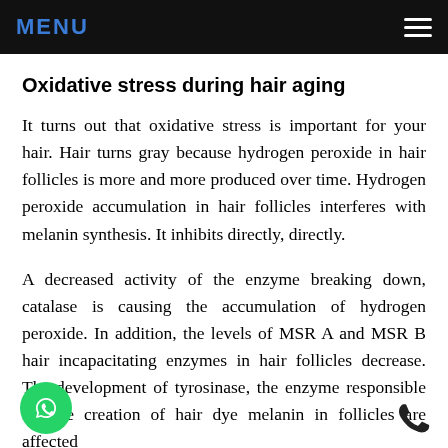MENU
Oxidative stress during hair aging
It turns out that oxidative stress is important for your hair. Hair turns gray because hydrogen peroxide in hair follicles is more and more produced over time. Hydrogen peroxide accumulation in hair follicles interferes with melanin synthesis. It inhibits directly, directly.
A decreased activity of the enzyme breaking down, catalase is causing the accumulation of hydrogen peroxide. In addition, the levels of MSR A and MSR B hair incapacitating enzymes in hair follicles decrease. The development of tyrosinase, the enzyme responsible for the creation of hair dye melanin in follicles are affected